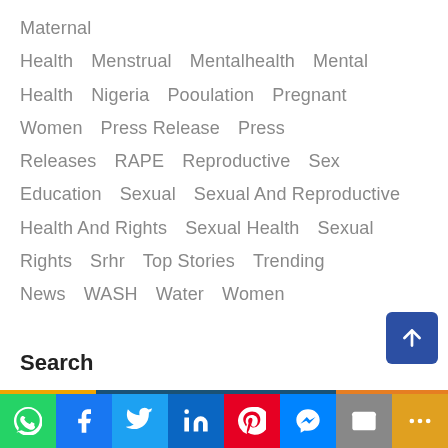Maternal Health   Menstrual   Mentalhealth   Mental Health   Nigeria   Pooulation   Pregnant Women   Press Release   Press Releases   RAPE   Reproductive   Sex Education   Sexual   Sexual And Reproductive Health And Rights   Sexual Health   Sexual Rights   Srhr   Top Stories   Trending News   WASH   Water   Women
Search
[Figure (other): Social sharing bar with icons: WhatsApp (green), Facebook (blue), Twitter (light blue), LinkedIn (dark blue), Pinterest (red), Messenger (blue), Email (grey), More (orange)]